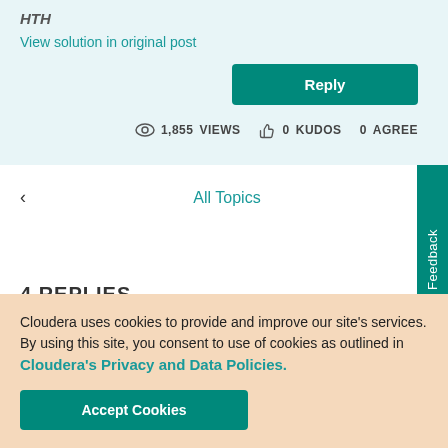HTH
View solution in original post
Reply
1,855 VIEWS  0 KUDOS  0 AGREE
< All Topics
Feedback
4 REPLIES
Cloudera uses cookies to provide and improve our site's services. By using this site, you consent to use of cookies as outlined in Cloudera's Privacy and Data Policies.
Accept Cookies